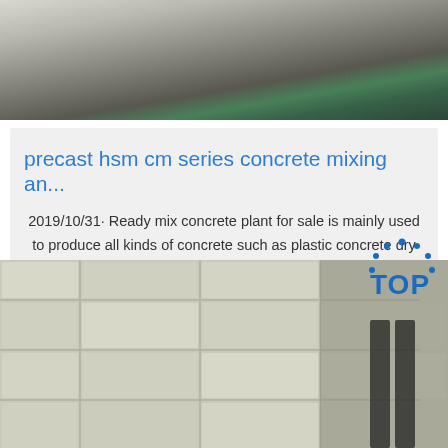[Figure (photo): Close-up photo of a metallic/steel surface, possibly a concrete mixing plant component, with greenish material visible at the top right edge.]
precast hsm cm series concrete mixing an...
2019/10/31· Ready mix concrete plant for sale is mainly used to produce all kinds of concrete such as plastic concrete dry hard concrete liquid concrete light aggregate concrete and other type concrete. Mix Concrete Concrete Light Plant Classification Construction Machines Plant Sale Sri Lanka Stationary . Portable Mortar Batch Plant ...
[Figure (other): Get Price button]
[Figure (photo): Photo of light-colored concrete paving slabs/tiles laid on a surface, with a person's legs visible at the right edge and a blue 'TOP' logo watermark at the upper right.]